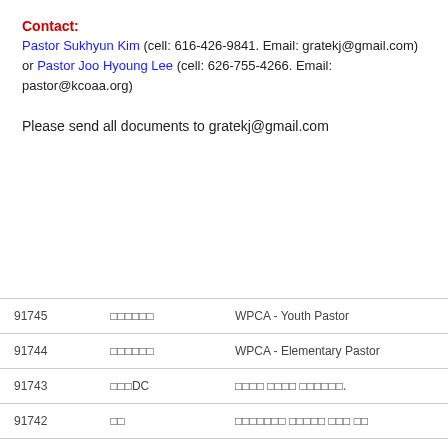Contact:
Pastor Sukhyun Kim (cell: 616-426-9841. Email: gratekj@gmail.com) or Pastor Joo Hyoung Lee (cell: 626-755-4266. Email: pastor@kcoaa.org)
Please send all documents to gratekj@gmail.com
|  |  |  |
| --- | --- | --- |
| 91745 | □□□□□□ | WPCA - Youth Pastor |
| 91744 | □□□□□□ | WPCA - Elementary Pastor |
| 91743 | □□□DC | □□□□ □□□□ □□□□□□. |
| 91742 | □□ | □□□□□□□ □□□□□ □□□ □□ |